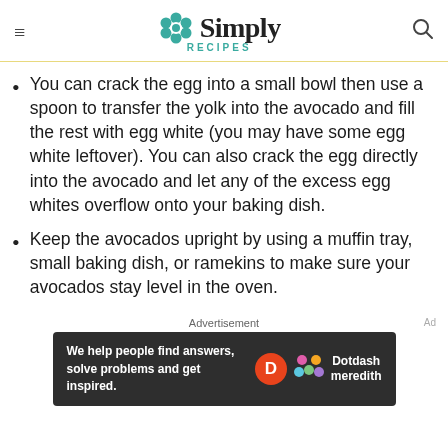Simply Recipes
You can crack the egg into a small bowl then use a spoon to transfer the yolk into the avocado and fill the rest with egg white (you may have some egg white leftover). You can also crack the egg directly into the avocado and let any of the excess egg whites overflow onto your baking dish.
Keep the avocados upright by using a muffin tray, small baking dish, or ramekins to make sure your avocados stay level in the oven.
Advertisement
[Figure (other): Dotdash Meredith advertisement banner: We help people find answers, solve problems and get inspired.]